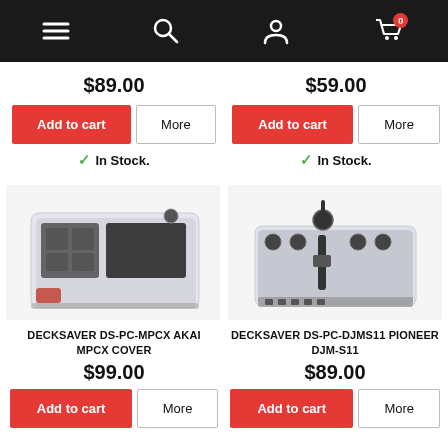Navigation bar with menu, search, account, and cart (0 items) icons
$89.00
$59.00
Add to cart | More
Add to cart | More
✓ In Stock.
✓ In Stock.
[Figure (photo): Decksaver DS-PC-MPCX Akai MPCX Cover product photo showing clear protective cover on device]
[Figure (photo): Decksaver DS-PC-DJMS11 Pioneer DJM-S11 product photo showing clear protective cover on DJ mixer]
DECKSAVER DS-PC-MPCX AKAI MPCX COVER
DECKSAVER DS-PC-DJMS11 PIONEER DJM-S11
$99.00
$89.00
Add to cart | More
Add to cart | More